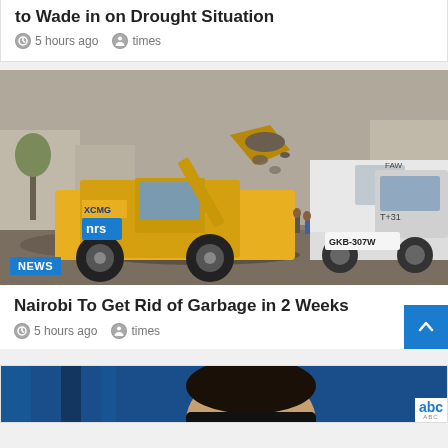to Wade in on Drought Situation
5 hours ago   times
[Figure (photo): A yellow front-end loader/bulldozer scooping up garbage and debris into a large white dump truck on a dusty urban street. A NEWS badge is visible in the lower left corner of the image.]
Nairobi To Get Rid of Garbage in 2 Weeks
5 hours ago   times
[Figure (photo): Partial image of a man's face against a blue curtain background with an 'abc' logo visible in the lower right corner.]